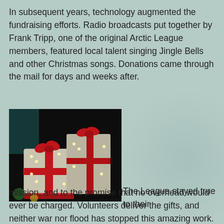In subsequent years, technology augmented the fundraising efforts. Radio broadcasts put together by Frank Tripp, one of the original Arctic League members, featured local talent singing Jingle Bells and other Christmas songs. Donations came through the mail for days and weeks after.
[Figure (photo): Photo of illuminated Christmas gift decorations wrapped in white lights with red ribbons and bows, displayed against a dark background.]
The League stayed true to their mission, and to the promise that no overhead would ever be charged. Volunteers deliver the gifts, and neither war nor flood has stopped this amazing work. When in World War II, gas shortages threatened to ground the operation, soldiers stationed locally at the Holding Point in Horseheads, NY